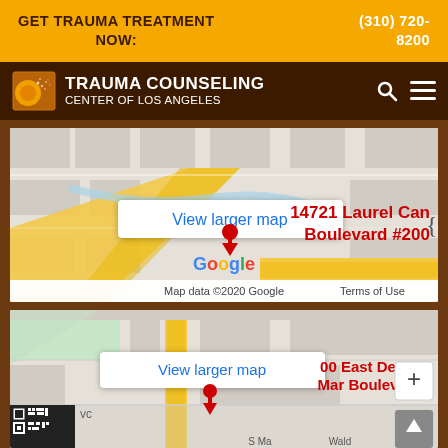GET TRAUMA TREATMENT NOW:    (310) 720-8200
[Figure (logo): Trauma Counseling Center of Los Angeles logo and navigation bar with search and menu icons]
[Figure (map): Google Map showing location at 14721 Laurel Canyon Boulevard #200, with 'View larger map' link and 'Map data ©2020 Google Terms of Use' footer]
[Figure (map): Google Map showing location at 900 East Del Mar Boulevard, with 'View larger map' link, zoom controls, and QR code visible at bottom left]